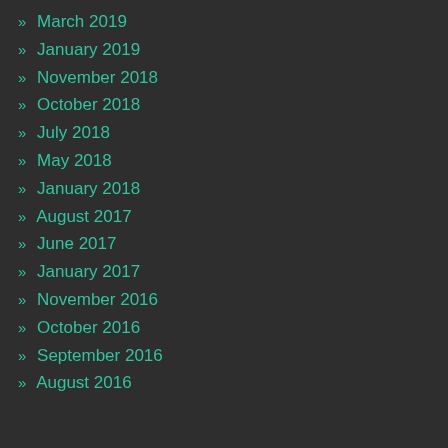» March 2019
» January 2019
» November 2018
» October 2018
» July 2018
» May 2018
» January 2018
» August 2017
» June 2017
» January 2017
» November 2016
» October 2016
» September 2016
» August 2016